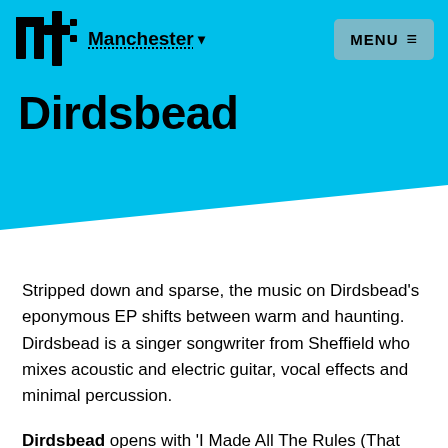nt Manchester ▾   MENU ≡
Dirdsbead
Stripped down and sparse, the music on Dirdsbead's eponymous EP shifts between warm and haunting. Dirdsbead is a singer songwriter from Sheffield who mixes acoustic and electric guitar, vocal effects and minimal percussion.
Dirdsbead opens with 'I Made All The Rules (That Keep Me Away From You)', which has a similar feel to Bon Iver, a soft